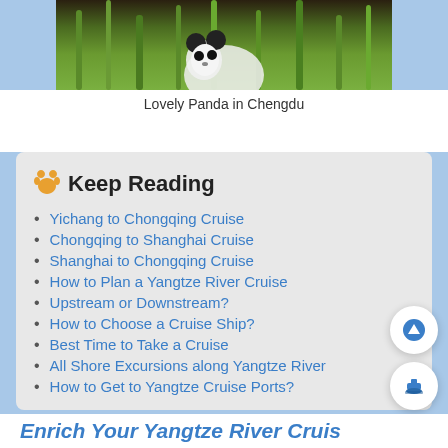[Figure (photo): Photo of a panda in green bamboo environment in Chengdu]
Lovely Panda in Chengdu
Keep Reading
Yichang to Chongqing Cruise
Chongqing to Shanghai Cruise
Shanghai to Chongqing Cruise
How to Plan a Yangtze River Cruise
Upstream or Downstream?
How to Choose a Cruise Ship?
Best Time to Take a Cruise
All Shore Excursions along Yangtze River
How to Get to Yangtze Cruise Ports?
Enrich Your Yangtze River Cruise...